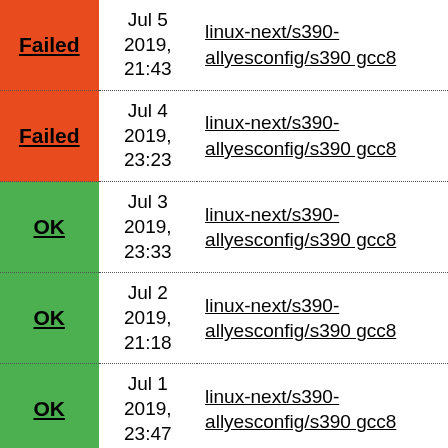| Status | Date | Link |
| --- | --- | --- |
| Failed | Jul 5 2019, 21:43 | linux-next/s390-allyesconfig/s390 gcc8 |
| Failed | Jul 4 2019, 23:23 | linux-next/s390-allyesconfig/s390 gcc8 |
| OK | Jul 3 2019, 23:33 | linux-next/s390-allyesconfig/s390 gcc8 |
| OK | Jul 2 2019, 21:18 | linux-next/s390-allyesconfig/s390 gcc8 |
| OK | Jul 1 2019, 23:47 | linux-next/s390-allyesconfig/s390 gcc8 |
| OK | Jun 28 2019, 23:11 | linux-next/s390-allyesconfig/s390 gcc8 |
| OK | Jun 27 | linux-next/s390- |